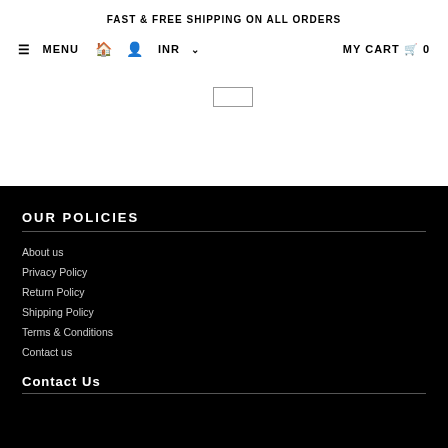FAST & FREE SHIPPING ON ALL ORDERS
≡ MENU 🏠 👤 INR ∨ MY CART 🛒 0
OUR POLICIES
About us
Privacy Policy
Return Policy
Shipping Policy
Terms & Conditions
Contact us
Contact Us